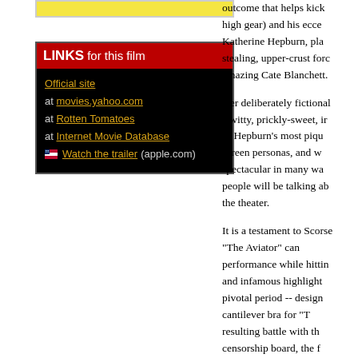[Figure (other): Yellow banner/image at top of left column]
LINKS for this film
Official site
at movies.yahoo.com
at Rotten Tomatoes
at Internet Movie Database
Watch the trailer (apple.com)
outcome that helps kick high gear) and his ecce Katherine Hepburn, pla stealing, upper-crust forc amazing Cate Blanchett.

Her deliberately fictional a witty, prickly-sweet, i of Hepburn's most piqu screen personas, and w spectacular in many wa people will be talking ab the theater.

It is a testament to Scorse "The Aviator" can performance while hittin and infamous highlight pivotal period -- design cantilever bra for "T resulting battle with th censorship board, the f Am's attempt to monopoli traffic and smear Hug taking advantage of his Hughes turning the ta